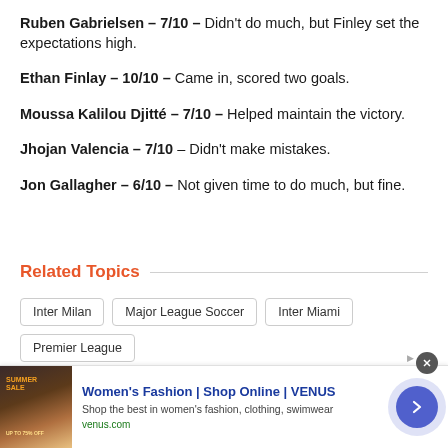Ruben Gabrielsen - 7/10 - Didn't do much, but Finley set the expectations high.
Ethan Finlay - 10/10 - Came in, scored two goals.
Moussa Kalilou Djitté - 7/10 - Helped maintain the victory.
Jhojan Valencia - 7/10 - Didn't make mistakes.
Jon Gallagher - 6/10 - Not given time to do much, but fine.
Related Topics
Inter Milan
Major League Soccer
Inter Miami
Premier League
[Figure (screenshot): Advertisement banner for Women's Fashion | Shop Online | VENUS with thumbnail image, text, and navigation arrow button]